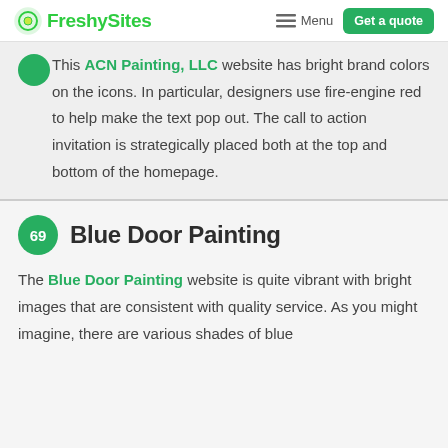FreshySites — Menu — Get a quote
This ACN Painting, LLC website has bright brand colors on the icons. In particular, designers use fire-engine red to help make the text pop out. The call to action invitation is strategically placed both at the top and bottom of the homepage.
69 Blue Door Painting
The Blue Door Painting website is quite vibrant with bright images that are consistent with quality service. As you might imagine, there are various shades of blue